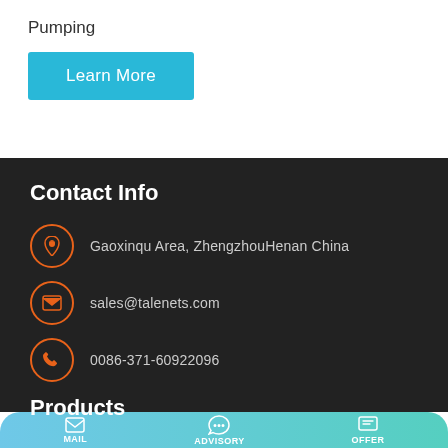Pumping
Learn More
Contact Info
Gaoxinqu Area, ZhengzhouHenan China
sales@talenets.com
0086-371-60922096
Products
MAIL   ADVISORY   OFFER